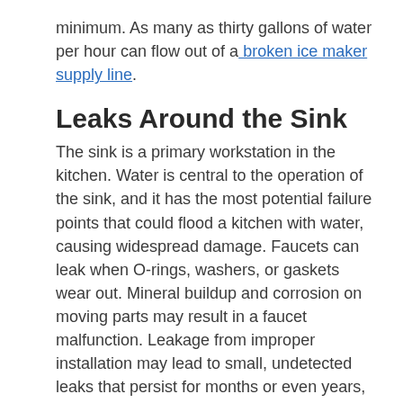minimum. As many as thirty gallons of water per hour can flow out of a broken ice maker supply line.
Leaks Around the Sink
The sink is a primary workstation in the kitchen. Water is central to the operation of the sink, and it has the most potential failure points that could flood a kitchen with water, causing widespread damage. Faucets can leak when O-rings, washers, or gaskets wear out. Mineral buildup and corrosion on moving parts may result in a faucet malfunction. Leakage from improper installation may lead to small, undetected leaks that persist for months or even years, causing wood rot and mold. When the issue is finally discovered, the repair will most likely require trained professionals to mitigate the water damage and repair the damaged structure.
A sprayer is an indispensable tool in the sink area. However, the many connections, the constant friction on the hose, rough handling, and aging can cause sprayer failure. Several gallons a minute can pour out of a ruptured sprayer hose into the cabinets and onto the floor. Imagine this incident occurring